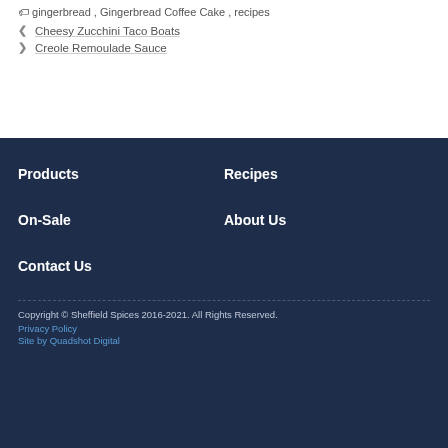gingerbread, Gingerbread Coffee Cake, recipes
Cheesy Zucchini Taco Boats
Creole Remoulade Sauce
Products
Recipes
On-Sale
About Us
Contact Us
Copyright © Sheffield Spices 2016-2021. All Rights Reserved.
Privacy Policy
Site by Quadshot Digital